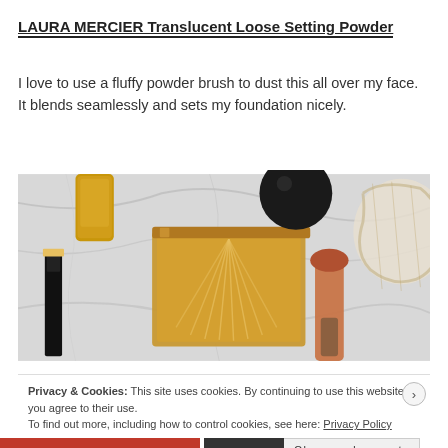LAURA MERCIER Translucent Loose Setting Powder
I love to use a fluffy powder brush to dust this all over my face. It blends seamlessly and sets my foundation nicely.
[Figure (photo): Flat lay photo of makeup products on a white marble surface: an open gold compact powder, a makeup brush with orange bristles, a round mirror, and other cosmetic items.]
Privacy & Cookies: This site uses cookies. By continuing to use this website, you agree to their use.
To find out more, including how to control cookies, see here: Privacy Policy
Close and accept